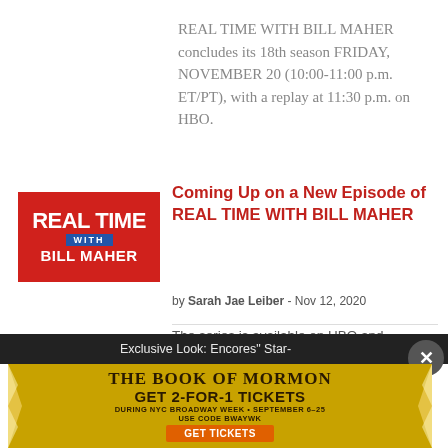REAL TIME WITH BILL MAHER concludes its 18th season FRIDAY, NOVEMBER 20 (10:00-11:00 p.m. ET/PT), with a replay at 11:30 p.m. on HBO.
[Figure (logo): Red REAL TIME WITH BILL MAHER logo with white text]
Coming Up on a New Episode of REAL TIME WITH BILL MAHER
by Sarah Jae Leiber - Nov 12, 2020
The series is available on HBO and
Exclusive Look: Encores" Star-
[Figure (infographic): THE BOOK OF MORMON advertisement: GET 2-FOR-1 TICKETS DURING NYC BROADWAY WEEK • SEPTEMBER 6-25 USE CODE BWAYWK GET TICKETS]